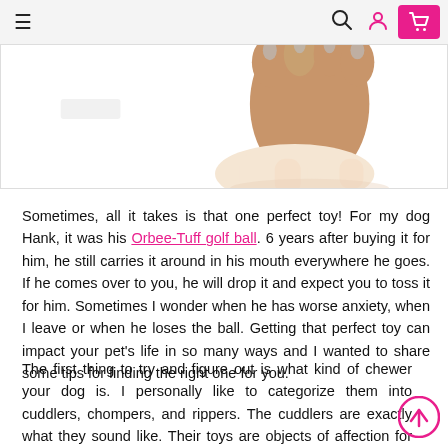Navigation bar with hamburger menu, search, user, and cart icons
[Figure (photo): Partial image of a dog paw being held by a human hand, on a white background]
Sometimes, all it takes is that one perfect toy! For my dog Hank, it was his Orbee-Tuff golf ball. 6 years after buying it for him, he still carries it around in his mouth everywhere he goes. If he comes over to you, he will drop it and expect you to toss it for him. Sometimes I wonder when he has worse anxiety, when I leave or when he loses the ball. Getting that perfect toy can impact your pet's life in so many ways and I wanted to share some tips for finding the right one for you.
The first thing to try and figure out is what kind of chewer your dog is. I personally like to categorize them into cuddlers, chompers, and rippers. The cuddlers are exactly what they sound like. Their toys are objects of affection for them and they would do nothing to hurt it. These tend to be mild-mannered